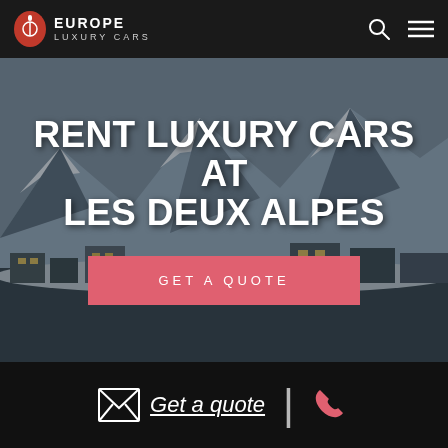EUROPE LUXURY CARS
[Figure (screenshot): Hero image of snowy alpine village Les Deux Alpes with mountains in background]
RENT LUXURY CARS AT LES DEUX ALPES
GET A QUOTE
SEDUCING THE CURVES OF THE ROAD
Get a quote  |  [phone icon]